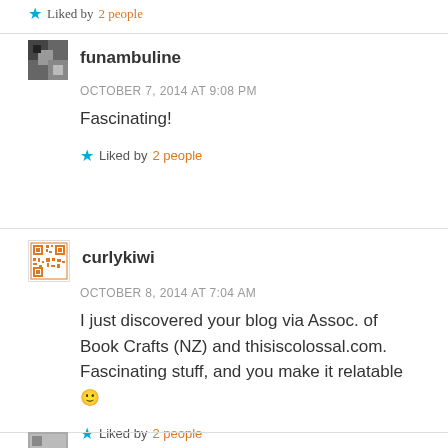Liked by 2 people
funambuline
OCTOBER 7, 2014 AT 9:08 PM
Fascinating!
Liked by 2 people
curlykiwi
OCTOBER 8, 2014 AT 7:04 AM
I just discovered your blog via Assoc. of Book Crafts (NZ) and thisiscolossal.com. Fascinating stuff, and you make it relatable 🙂
Liked by 2 people